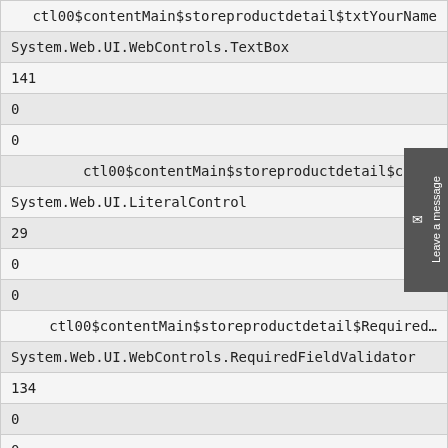| ctl00$contentMain$storeproductdetail$txtYourName |
| System.Web.UI.WebControls.TextBox |
| 141 |
| 0 |
| 0 |
| ctl00$contentMain$storeproductdetail$ctl18 |
| System.Web.UI.LiteralControl |
| 29 |
| 0 |
| 0 |
| ctl00$contentMain$storeproductdetail$Required… |
| System.Web.UI.WebControls.RequiredFieldValidator |
| 134 |
| 0 |
| 0 |
| ctl00$contentMain$storeproductdetail$ctl19 |